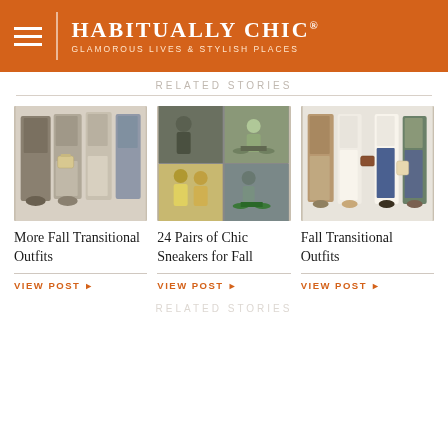HABITUALLY CHIC® — GLAMOROUS LIVES & STYLISH PLACES
RELATED STORIES
[Figure (photo): Collage of neutral-toned fall transitional outfits including coats, trousers, and skirts]
More Fall Transitional Outfits
VIEW POST
[Figure (photo): Collage of street style photos featuring people wearing sneakers in fall outfits]
24 Pairs of Chic Sneakers for Fall
VIEW POST
[Figure (photo): Collage of fall transitional outfit items in brown, white, and denim tones]
Fall Transitional Outfits
VIEW POST
RELATED STORIES